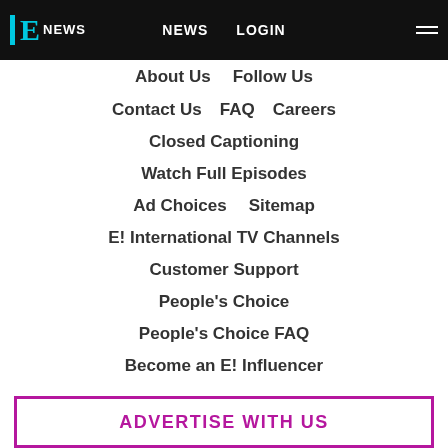E! NEWS  NEWS  LOGIN
About Us   Follow Us
Contact Us   FAQ   Careers
Closed Captioning
Watch Full Episodes
Ad Choices   Sitemap
E! International TV Channels
Customer Support
People's Choice
People's Choice FAQ
Become an E! Influencer
ADVERTISE WITH US